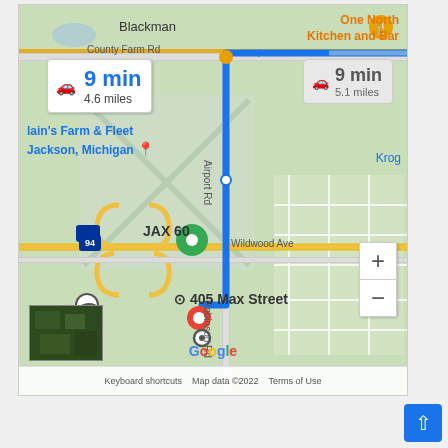[Figure (map): Google Maps screenshot showing driving directions to 405 Max Street in Jackson, Michigan. Two routes are shown: primary route 9 min / 4.6 miles and secondary route 9 min / 5.1 miles. The map shows Blackman area, County Farm Rd, Airport Rd, Wildwood Ave, Robinson Rd, I-94, Route 60, JAX 60, Blain's Farm & Fleet Jackson Michigan, Kroger, One North Kitchen and Bar. A green destination pin and red current location pin are shown near 405 Max Street.]
Keyboard shortcuts  Map data ©2022  Terms of Use